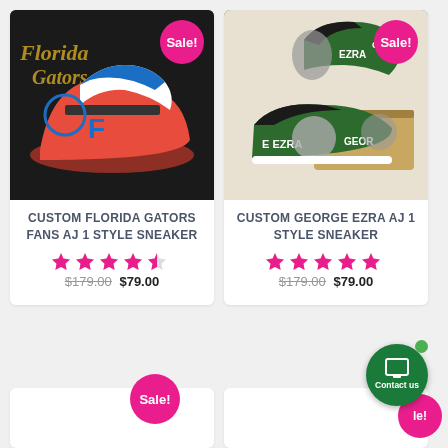[Figure (photo): Custom Florida Gators Fans AJ 1 Style Sneaker product image with Sale! badge]
[Figure (photo): Custom George Ezra AJ 1 Style Sneaker product image with Sale! badge]
CUSTOM FLORIDA GATORS FANS AJ 1 STYLE SNEAKER
[Figure (other): Star rating: 4.5 out of 5 stars]
$179.00 $79.00
CUSTOM GEORGE EZRA AJ 1 STYLE SNEAKER
[Figure (other): Star rating: 5 out of 5 stars]
$179.00 $79.00
[Figure (other): Sale! badge bottom left]
[Figure (other): Contact us button bottom right]
[Figure (other): Sale! badge bottom right (partial card)]